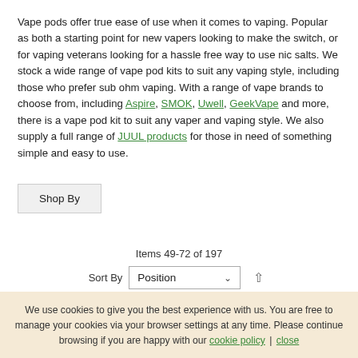Vape pods offer true ease of use when it comes to vaping. Popular as both a starting point for new vapers looking to make the switch, or for vaping veterans looking for a hassle free way to use nic salts. We stock a wide range of vape pod kits to suit any vaping style, including those who prefer sub ohm vaping. With a range of vape brands to choose from, including Aspire, SMOK, Uwell, GeekVape and more, there is a vape pod kit to suit any vaper and vaping style. We also supply a full range of JUUL products for those in need of something simple and easy to use.
Shop By
Items 49-72 of 197
Sort By Position
We use cookies to give you the best experience with us. You are free to manage your cookies via your browser settings at any time. Please continue browsing if you are happy with our cookie policy | close